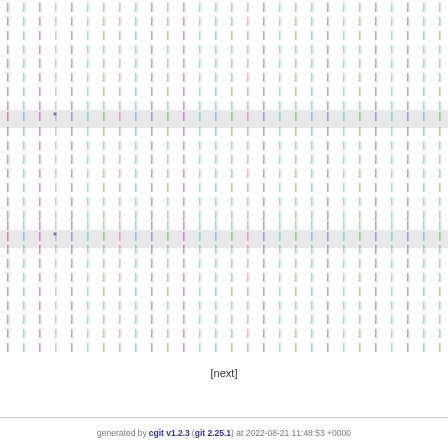[Figure (other): Git log graph visualization showing colored pipe characters (|) in multiple columns representing branches in red, cyan, purple, dark blue, green, magenta, teal colors, with two highlighted rows containing asterisk (*) markers indicating commits]
[next]
generated by cgit v1.2.3 (git 2.25.1) at 2022-08-21 11:48:53 +0000